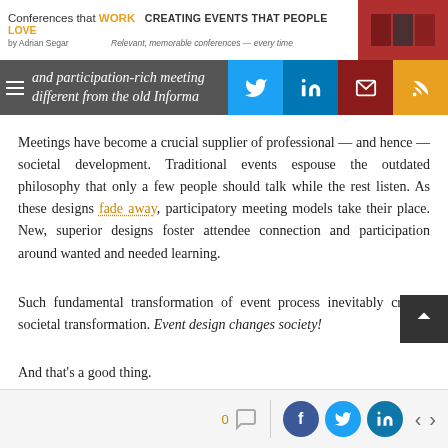Conferences that WORK CREATING EVENTS THAT PEOPLE LOVE by Adrian Segar Relevant, memorable conferences — every time
and participation-rich meeting different from the old Informa
Meetings have become a crucial supplier of professional — and hence — societal development. Traditional events espouse the outdated philosophy that only a few people should talk while the rest listen. As these designs fade away, participatory meeting models take their place. New, superior designs foster attendee connection and participation around wanted and needed learning.
Such fundamental transformation of event process inevitably creates societal transformation. Event design changes society!
And that's a good thing.
0 comments | Facebook | Twitter | LinkedIn | < | >